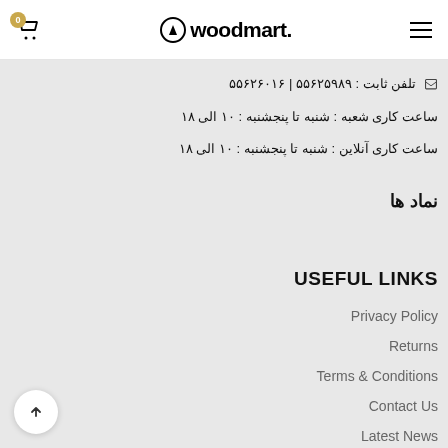woodmart. — header with cart (0) and hamburger menu
تلفن ثابت : ۵۵۶۲۵۹۸۹ | ۵۵۶۲۶۰۱۶
ساعت کاری شعبه : شنبه تا پنجشنبه : ۱۰ الی ۱۸
ساعت کاری آنلاین : شنبه تا پنجشنبه : ۱۰ الی ۱۸
نماد ها
USEFUL LINKS
Privacy Policy
Returns
Terms & Conditions
Contact Us
Latest News